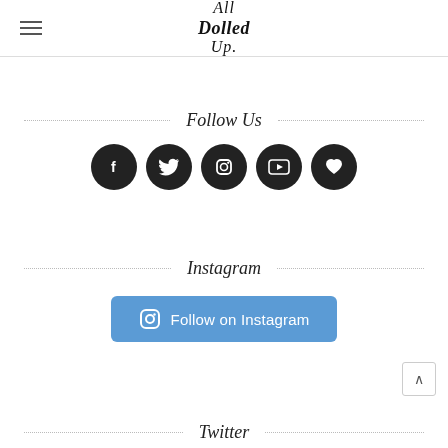All Dolled Up
Follow Us
[Figure (infographic): Five dark circular social media icon buttons: Facebook (f), Twitter (bird), Instagram (camera), YouTube (play), and a heart/Bloglovin icon]
Instagram
[Figure (infographic): Blue rounded button reading 'Follow on Instagram' with an Instagram camera icon on the left]
Twitter